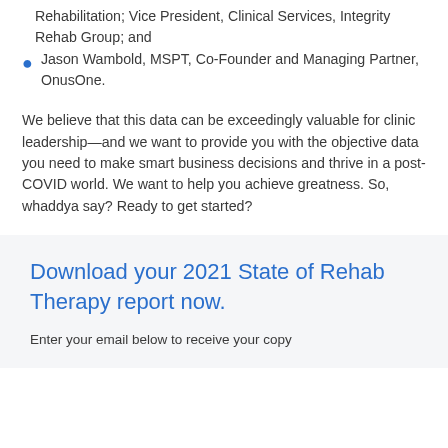Rehabilitation; Vice President, Clinical Services, Integrity Rehab Group; and
Jason Wambold, MSPT, Co-Founder and Managing Partner, OnusOne.
We believe that this data can be exceedingly valuable for clinic leadership—and we want to provide you with the objective data you need to make smart business decisions and thrive in a post-COVID world. We want to help you achieve greatness. So, whaddya say? Ready to get started?
Download your 2021 State of Rehab Therapy report now.
Enter your email below to receive your copy